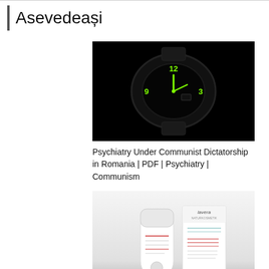Asevedeași
[Figure (photo): Black watch with glowing green numerals (12, 9, 3) and hands on a dark background]
Psychiatry Under Communist Dictatorship in Romania | PDF | Psychiatry | Communism
[Figure (photo): Lavera skincare products - a tube and a box on white/grey gradient background]
Îngrijirea tenului uscat
[Figure (photo): Healthy food arrangement with blueberries, avocado, salmon and green vegetables]